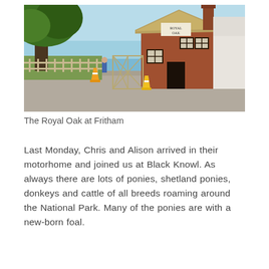[Figure (photo): Photograph of The Royal Oak pub at Fritham — a thatched-roof brick building with a sign reading 'Royal Oak', a wooden fence, large green tree on the left, blue sky, and traffic cones on a country road in front.]
The Royal Oak at Fritham
Last Monday, Chris and Alison arrived in their motorhome and joined us at Black Knowl. As always there are lots of ponies, shetland ponies, donkeys and cattle of all breeds roaming around the National Park. Many of the ponies are with a new-born foal.